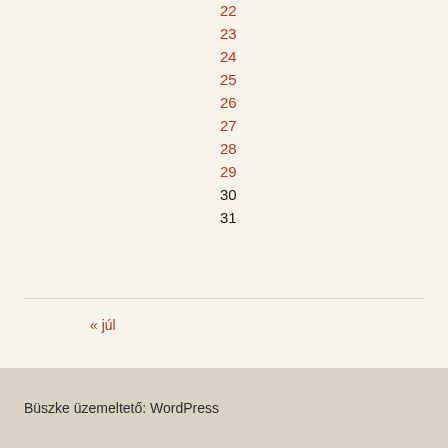22
23
24
25
26
27
28
29
30
31
« júl
Büszke üzemeltető: WordPress